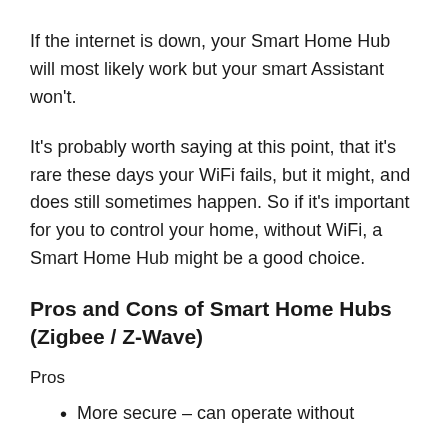If the internet is down, your Smart Home Hub will most likely work but your smart Assistant won't.
It's probably worth saying at this point, that it's rare these days your WiFi fails, but it might, and does still sometimes happen. So if it's important for you to control your home, without WiFi, a Smart Home Hub might be a good choice.
Pros and Cons of Smart Home Hubs (Zigbee / Z-Wave)
Pros
More secure – can operate without